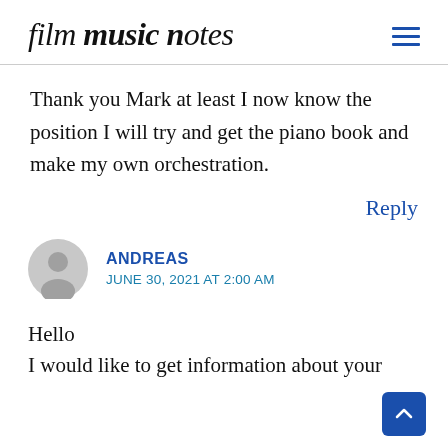film music notes
Thank you Mark at least I now know the position I will try and get the piano book and make my own orchestration.
Reply
ANDREAS
JUNE 30, 2021 AT 2:00 AM
Hello
I would like to get information about your